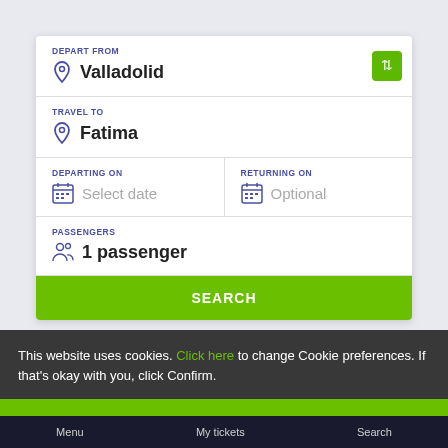[Figure (screenshot): Travel booking form UI with fields: Depart From (Valladolid), Travel To (Fatima), Departing On (Select date), Returning On (Optional), Passengers (1 passenger), and a green Search button. A cookie consent overlay is shown at the bottom with a Confirm button. A bottom navigation bar shows Menu, My tickets, Search.]
DEPART FROM
Valladolid
TRAVEL TO
Fatima
DEPARTING ON
Select date
RETURNING ON
Optional
PASSENGERS
1 passenger
SEARCH
This website uses cookies. Click here to change Cookie preferences. If that's okay with you, click Confirm.
Confirm
Menu   My tickets   Search